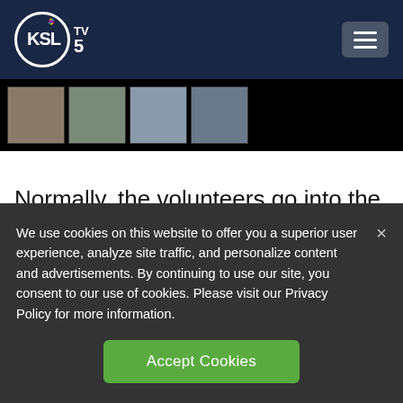KSL TV 5
[Figure (screenshot): Video thumbnail strip showing four small preview images of news footage against a black background]
Normally, the volunteers go into the building and pick up the meals for delivery. This year, they did it drive-through style. They adapted
We use cookies on this website to offer you a superior user experience, analyze site traffic, and personalize content and advertisements. By continuing to use our site, you consent to our use of cookies. Please visit our Privacy Policy for more information.
Accept Cookies